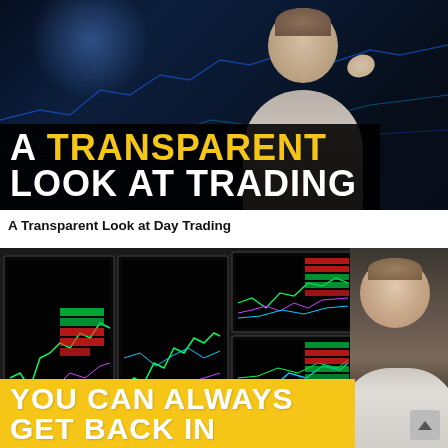[Figure (photo): Thumbnail image for a YouTube-style video: a man smiling against a dark blue background with glowing chart lines, with bold text overlay reading 'A TRANSPARENT LOOK AT TRADING' — 'TRANSPARENT' in yellow, rest in white on black background.]
A Transparent Look at Day Trading
[Figure (photo): Thumbnail image for a second video: a trader looking at multiple monitors displaying colorful stock charts (green, purple, cyan lines on dark screens). Bold yellow banner at bottom reads 'YOU CAN ALWAYS GET BACK IN'.]